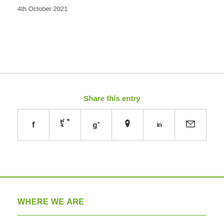4th October 2021
[Figure (other): Social media share buttons: Facebook (f), Twitter (bird), Google+ (g+), Pinterest (p), LinkedIn (in), Email (envelope)]
Share this entry
WHERE WE ARE